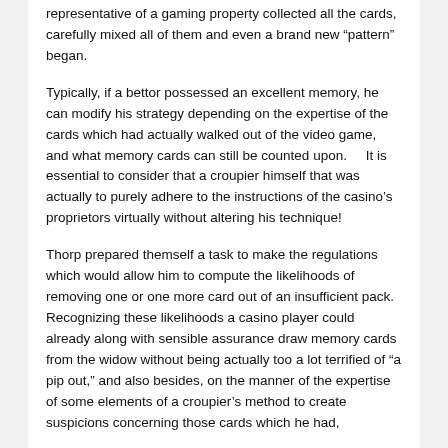representative of a gaming property collected all the cards, carefully mixed all of them and even a brand new “pattern” began.
Typically, if a bettor possessed an excellent memory, he can modify his strategy depending on the expertise of the cards which had actually walked out of the video game, and what memory cards can still be counted upon.     It is essential to consider that a croupier himself that was actually to purely adhere to the instructions of the casino’s proprietors virtually without altering his technique!
Thorp prepared themself a task to make the regulations which would allow him to compute the likelihoods of removing one or one more card out of an insufficient pack. Recognizing these likelihoods a casino player could already along with sensible assurance draw memory cards from the widow without being actually too a lot terrified of "a pip out," and also besides, on the manner of the expertise of some elements of a croupier's method to create suspicions concerning those cards which he had, and others could have.